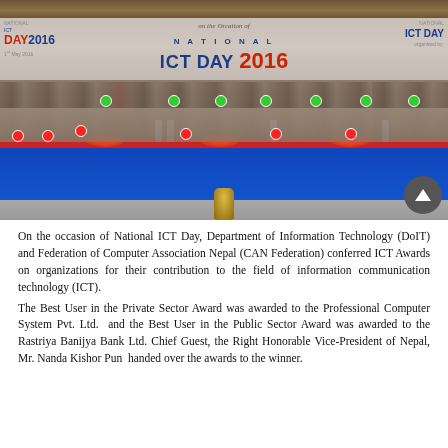[Figure (photo): Group photograph taken at National ICT Day 2016 event. A large group of attendees, including dignitaries and officials, are seated and standing in front of a backdrop banner reading 'National ICT Day 2016'. A long table covered with blue cloth is in the foreground.]
On the occasion of National ICT Day, Department of Information Technology (DoIT) and Federation of Computer Association Nepal (CAN Federation) conferred ICT Awards on organizations for their contribution to the field of information communication technology (ICT).
The Best User in the Private Sector Award was awarded to the Professional Computer System Pvt. Ltd.  and the Best User in the Public Sector Award was awarded to the Rastriya Banijya Bank Ltd. Chief Guest, the Right Honorable Vice-President of Nepal, Mr. Nanda Kishor Pun  handed over the awards to the winner.